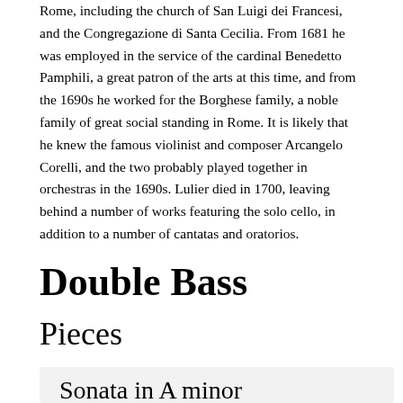Rome, including the church of San Luigi dei Francesi, and the Congregazione di Santa Cecilia. From 1681 he was employed in the service of the cardinal Benedetto Pamphili, a great patron of the arts at this time, and from the 1690s he worked for the Borghese family, a noble family of great social standing in Rome. It is likely that he knew the famous violinist and composer Arcangelo Corelli, and the two probably played together in orchestras in the 1690s. Lulier died in 1700, leaving behind a number of works featuring the solo cello, in addition to a number of cantatas and oratorios.
Double Bass
Pieces
Sonata in A minor